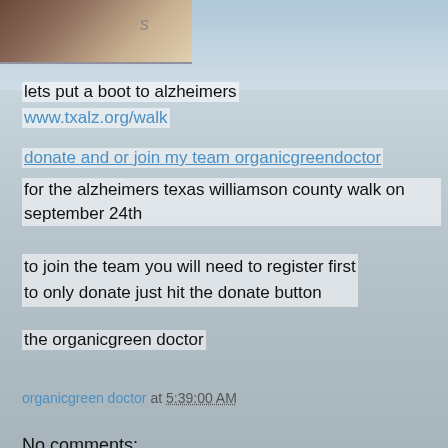[Figure (photo): Partial photo showing brown/tan colors, possibly a boot or clothing item, with a small letter 's' visible]
lets put a boot to alzheimers
www.txalz.org/walk
donate and or join my team organicgreendoctor
for the alzheimers texas williamson county walk on september 24th
to join the team you will need to register first
to only donate just hit the donate button
the organicgreen doctor
organicgreen doctor at 5:39:00 AM
Share
No comments: